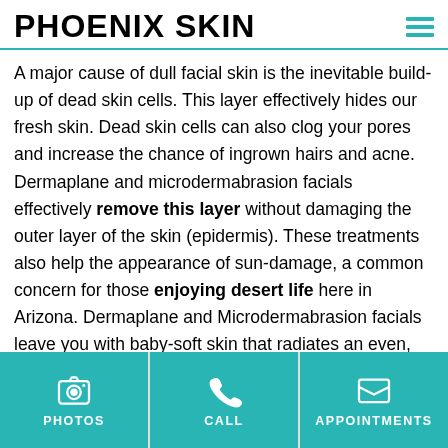PHOENIX SKIN
A major cause of dull facial skin is the inevitable build-up of dead skin cells. This layer effectively hides our fresh skin. Dead skin cells can also clog your pores and increase the chance of ingrown hairs and acne. Dermaplane and microdermabrasion facials effectively remove this layer without damaging the outer layer of the skin (epidermis). These treatments also help the appearance of sun-damage, a common concern for those enjoying desert life here in Arizona. Dermaplane and Microdermabrasion facials leave you with baby-soft skin that radiates an even, youthful, dewy glow.
PHOTOS | CALL | APPOINTMENTS